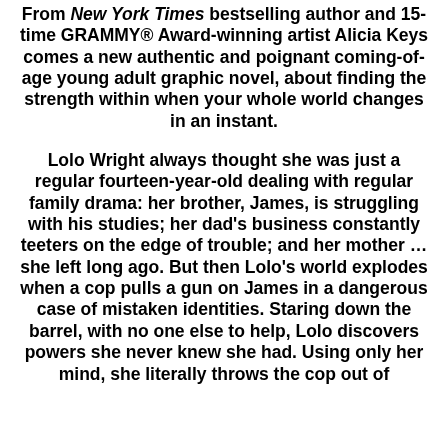From New York Times bestselling author and 15-time GRAMMY® Award-winning artist Alicia Keys comes a new authentic and poignant coming-of-age young adult graphic novel, about finding the strength within when your whole world changes in an instant.
Lolo Wright always thought she was just a regular fourteen-year-old dealing with regular family drama: her brother, James, is struggling with his studies; her dad's business constantly teeters on the edge of trouble; and her mother … she left long ago. But then Lolo's world explodes when a cop pulls a gun on James in a dangerous case of mistaken identities. Staring down the barrel, with no one else to help, Lolo discovers powers she never knew she had. Using only her mind, she literally throws the cop out of